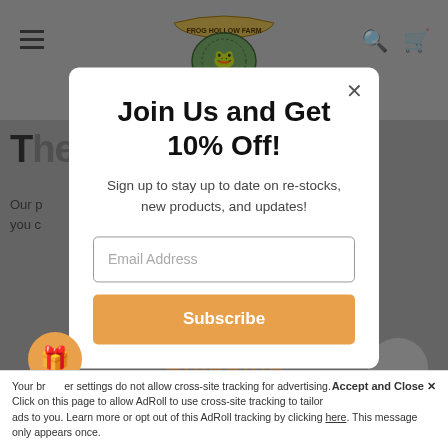[Figure (screenshot): Frog Hollow Farm website header with logo, hamburger menu icon, search icon, and cart icon on a grey dimmed background]
Join Us and Get 10% Off!
Sign up to stay up to date on re-stocks, new products, and updates!
Email Address
Subscribe
Your browser settings do not allow cross-site tracking for advertising. Click on this page to allow AdRoll to use cross-site tracking to tailor ads to you. Learn more or opt out of this AdRoll tracking by clicking here. This message only appears once.